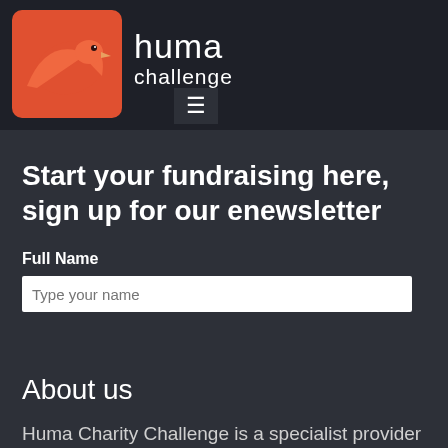[Figure (logo): Huma Challenge logo: orange bird/swallow on dark red rounded square, with 'huma challenge' text in white to the right]
Start your fundraising here, sign up for our enewsletter
Full Name
Type your name
About us
Huma Charity Challenge is a specialist provider of charity challenges, drawing on World Expedition's decades of experience providing high quality